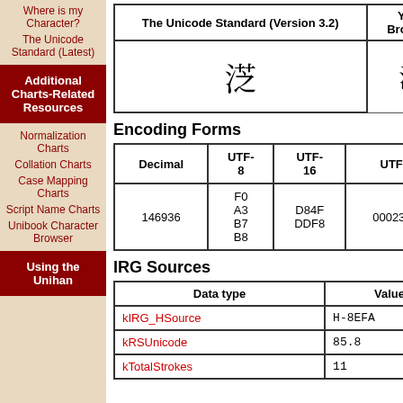Where is my Character?
The Unicode Standard (Latest)
Additional Charts-Related Resources
Normalization Charts
Collation Charts
Case Mapping Charts
Script Name Charts
Unibook Character Browser
Using the Unihan
| The Unicode Standard (Version 3.2) | Your Browser |
| --- | --- |
| 㴸 (CJK character) | □ |
Encoding Forms
| Decimal | UTF-8 | UTF-16 | UTF-32 |
| --- | --- | --- | --- |
| 146936 | F0 A3 B7 B8 | D84F DDF8 | 00023DF8 |
IRG Sources
| Data type | Value |
| --- | --- |
| kIRG_HSource | H-8EFA |
| kRSUnicode | 85.8 |
| kTotalStrokes | 11 |